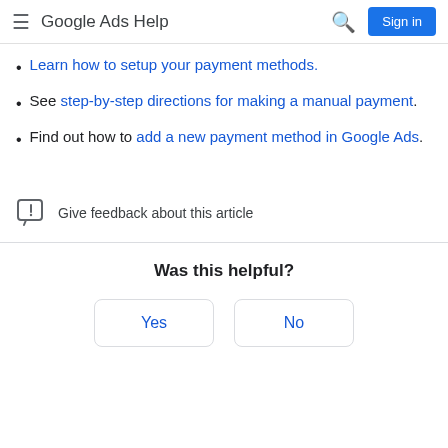Google Ads Help
Learn how to setup your payment methods.
See step-by-step directions for making a manual payment.
Find out how to add a new payment method in Google Ads.
Give feedback about this article
Was this helpful?
Yes
No